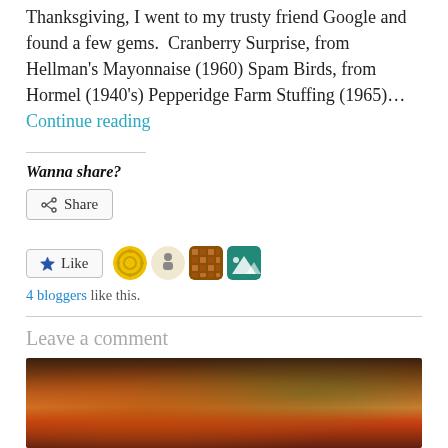Thanksgiving, I went to my trusty friend Google and found a few gems.   Cranberry Surprise, from Hellman's Mayonnaise (1960) Spam Birds, from Hormel (1940's) Pepperidge Farm Stuffing (1965)… Continue reading
Wanna share?
[Figure (screenshot): Share button with share icon]
[Figure (screenshot): Like button with star icon, followed by 4 blogger avatars]
4 bloggers like this.
Leave a comment
[Figure (photo): Food photo showing cooked vegetables or pizza in a baking tray]